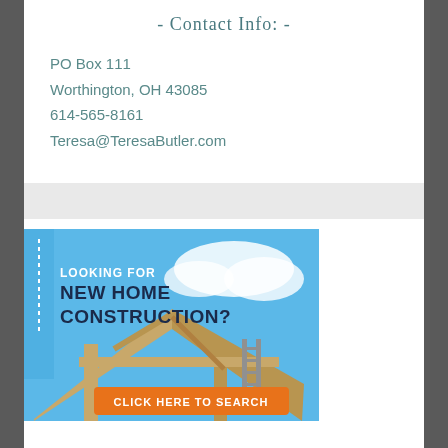- Contact Info: -
PO Box 111
Worthington, OH 43085
614-565-8161
Teresa@TeresaButler.com
[Figure (infographic): Advertisement banner: 'Looking for New Home Construction? Click Here To Search' with background photo of wood-framed house under construction against blue sky, orange call-to-action button at bottom.]